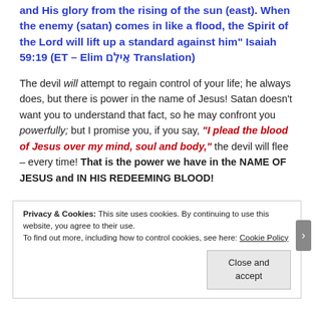and His glory from the rising of the sun (east). When the enemy (satan) comes in like a flood, the Spirit of the Lord will lift up a standard against him" Isaiah 59:19 (ET – Elim אֵילִם Translation)
The devil will attempt to regain control of your life; he always does, but there is power in the name of Jesus! Satan doesn't want you to understand that fact, so he may confront you powerfully; but I promise you, if you say, "I plead the blood of Jesus over my mind, soul and body," the devil will flee – every time! That is the power we have in the NAME OF JESUS and IN HIS REDEEMING BLOOD!
Privacy & Cookies: This site uses cookies. By continuing to use this website, you agree to their use. To find out more, including how to control cookies, see here: Cookie Policy
Close and accept